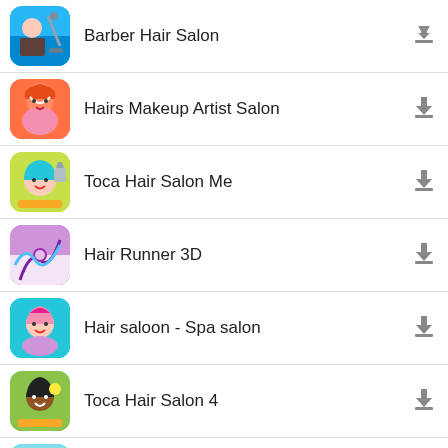Barber Hair Salon
Hairs Makeup Artist Salon
Toca Hair Salon Me
Hair Runner 3D
Hair saloon - Spa salon
Toca Hair Salon 4
Toca Hair Salon 2